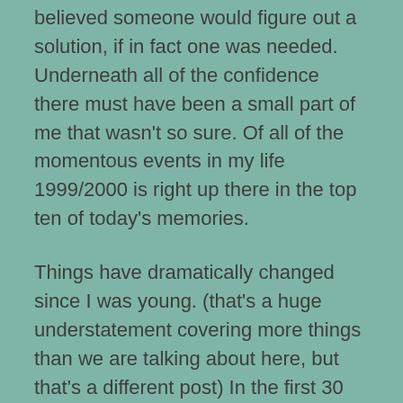believed someone would figure out a solution, if in fact one was needed. Underneath all of the confidence there must have been a small part of me that wasn't so sure. Of all of the momentous events in my life 1999/2000 is right up there in the top ten of today's memories.
Things have dramatically changed since I was young. (that's a huge understatement covering more things than we are talking about here, but that's a different post) In the first 30 years or so of my life I went merrily on my way and didn't question things I probably should have. Later in my forties I can remember being aghast looking back. If I had known in my twenties and thirties what I knew in my forties I would have worried and questioned a whole lot more.
At this point in my life I am back to not worrying much